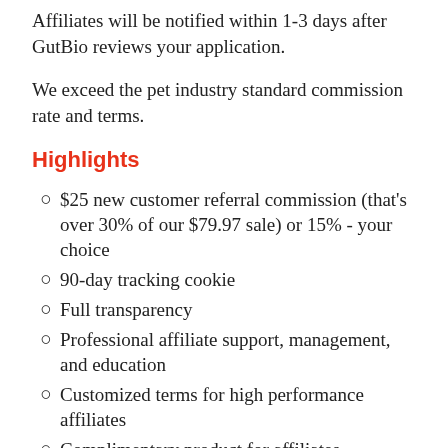Affiliates will be notified within 1-3 days after GutBio reviews your application.
We exceed the pet industry standard commission rate and terms.
Highlights
$25 new customer referral commission (that's over 30% of our $79.97 sale) or 15% - your choice
90-day tracking cookie
Full transparency
Professional affiliate support, management, and education
Customized terms for high performance affiliates
Complimentary product for affiliates
Affiliate promotions and contests